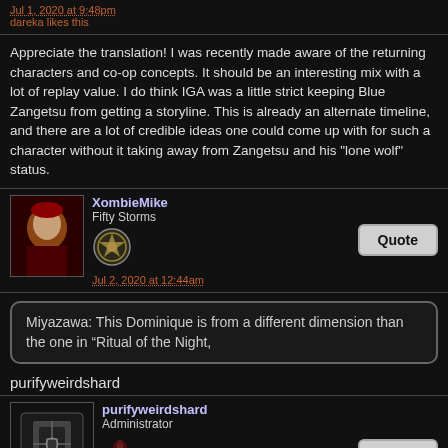Jul 1, 2020 at 9:48pm
dareka likes this
Appreciate the translation! I was recently made aware of the returning characters and co-op concepts. It should be an interesting mix with a lot of replay value. I do think IGA was a little strict keeping Blue Zangetsu from getting a storyline. This is already an alternate timeline, and there are a lot of credible ideas one could come up with for such a character without it taking away from Zangetsu and his "lone wolf" status.
XombieMike
Fifty Storms
Jul 2, 2020 at 12:44am
Miyazawa: This Dominique is from a different dimension than the one in “Ritual of the Night,
purifyweirdshard
purifyweirdshard
Administrator
Jul 2, 2020 at 12:50am
gunlord500 likes this